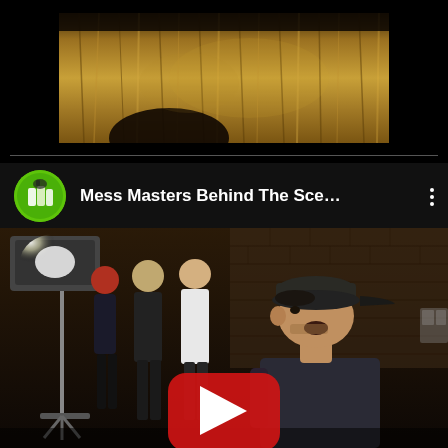[Figure (photo): Close-up of animal fur (brown/tan, possibly a goat or similar animal) against a black background, top portion of a YouTube video]
Mess Masters Behind The Sce...
[Figure (screenshot): YouTube video thumbnail showing behind-the-scenes footage with people in a studio setting, man with dark cap looking up, film lighting equipment on left, YouTube red play button overlay in center]